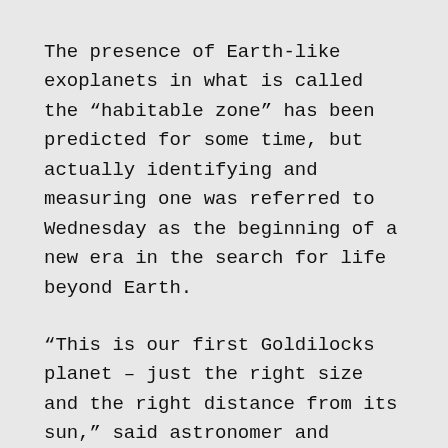The presence of Earth-like exoplanets in what is called the “habitable zone” has been predicted for some time, but actually identifying and measuring one was referred to Wednesday as the beginning of a new era in the search for life beyond Earth.
“This is our first Goldilocks planet – just the right size and the right distance from its sun,” said astronomer and “planet-hunter” Paul Butler with the Carnegie Institution of Washington. “A threshold has been crossed.”
The planet, called Gliese 581G, is quite close at 20 light years from Earth’s solar system. It is considered to be in the habitable zone because of its distance from its sun